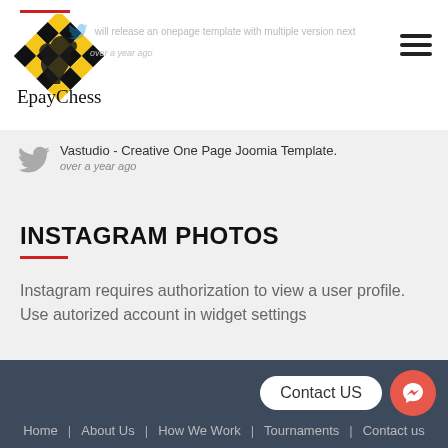[Figure (logo): EpayChess logo with checkered knight chess piece in black and yellow/gold, with text 'EpayChess' below in serif font]
will release an onepage template with multiple version next
over a year ago
Vastudio - Creative One Page Joomia Template.
over a year ago
INSTAGRAM PHOTOS
Instagram requires authorization to view a user profile. Use autorized account in widget settings
Home | About Us | How We Work | Tournaments | Contact us